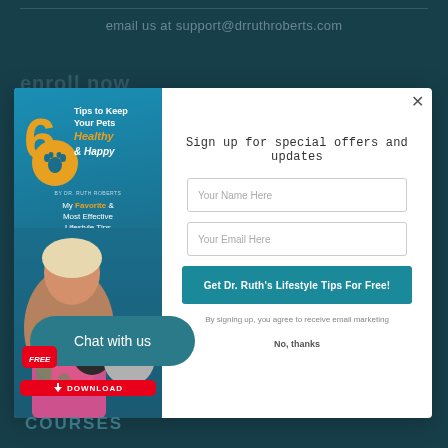email us at support@drruthroberts.com
enroll now
[Figure (screenshot): Popup modal with book cover on left showing '6 Tips to Keep Your Pets Healthy & Happy by Dr. Ruth Roberts' with FREE DOWNLOAD badge, and sign-up form on right with name field, email field, CTA button, and No thanks link]
Chat with us
COURSES